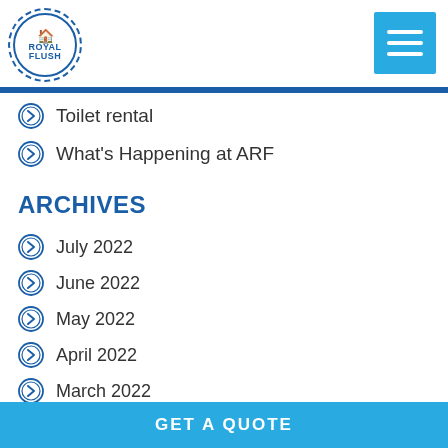[Figure (logo): Royal Flush logo — circular badge with dashed outer ring and solid inner ring, text ROYAL FLUSH with a house icon]
Toilet rental
What's Happening at ARF
ARCHIVES
July 2022
June 2022
May 2022
April 2022
March 2022
February 2022
January 2022
GET A QUOTE